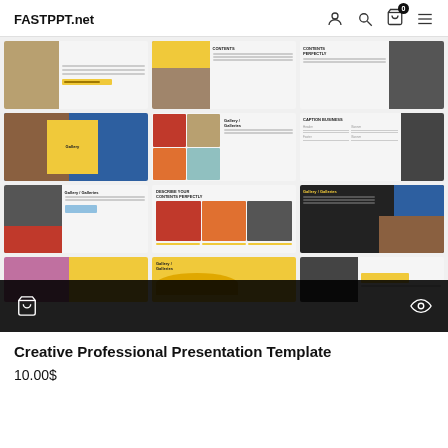FASTPPT.net
[Figure (screenshot): Grid of 12 presentation template slide thumbnails showing a creative professional presentation with yellow, blue, black, and white color scheme. Slides show fashion photography with gallery, contents, and business layouts. A black overlay bar at the bottom contains a shopping bag icon on the left and an eye/preview icon on the right.]
Creative Professional Presentation Template
10.00$